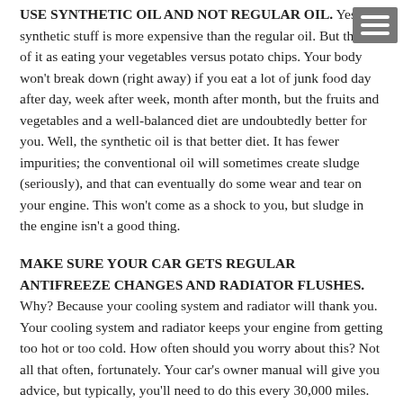USE SYNTHETIC OIL AND NOT REGULAR OIL. Yes, the synthetic stuff is more expensive than the regular oil. But think of it as eating your vegetables versus potato chips. Your body won't break down (right away) if you eat a lot of junk food day after day, week after week, month after month, but the fruits and vegetables and a well-balanced diet are undoubtedly better for you. Well, the synthetic oil is that better diet. It has fewer impurities; the conventional oil will sometimes create sludge (seriously), and that can eventually do some wear and tear on your engine. This won't come as a shock to you, but sludge in the engine isn't a good thing.
MAKE SURE YOUR CAR GETS REGULAR ANTIFREEZE CHANGES AND RADIATOR FLUSHES. Why? Because your cooling system and radiator will thank you. Your cooling system and radiator keeps your engine from getting too hot or too cold. How often should you worry about this? Not all that often, fortunately. Your car's owner manual will give you advice, but typically, you'll need to do this every 30,000 miles.